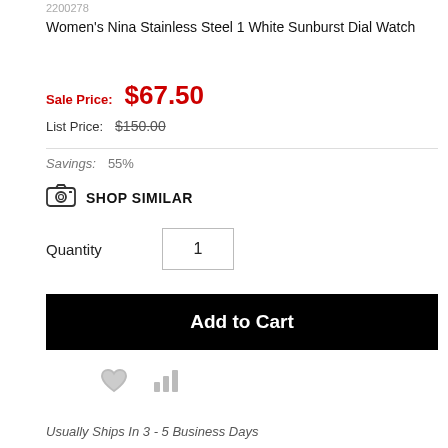2200278
Women's Nina Stainless Steel 1 White Sunburst Dial Watch
Sale Price: $67.50
List Price: $150.00
Savings: 55%
SHOP SIMILAR
Quantity 1
Add to Cart
Usually Ships In 3 - 5 Business Days